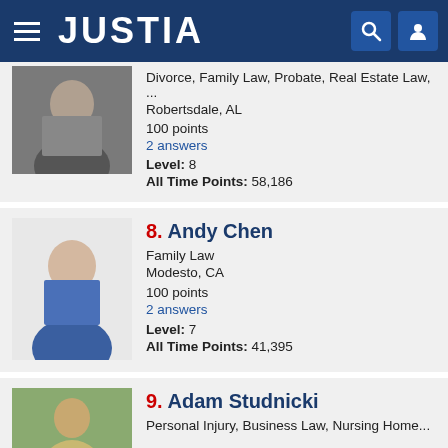JUSTIA
Divorce, Family Law, Probate, Real Estate Law, ...
Robertsdale, AL
100 points
2 answers
Level: 8
All Time Points: 58,186
8. Andy Chen
Family Law
Modesto, CA
100 points
2 answers
Level: 7
All Time Points: 41,395
9. Adam Studnicki
Personal Injury, Business Law, Nursing Home...